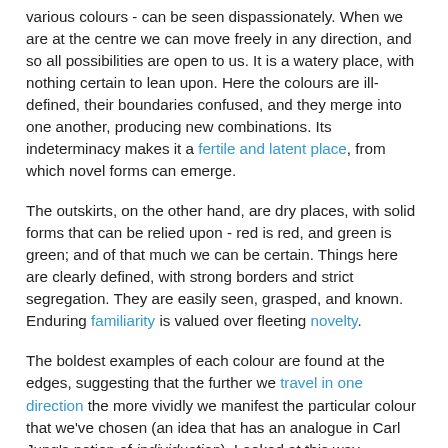various colours - can be seen dispassionately. When we are at the centre we can move freely in any direction, and so all possibilities are open to us. It is a watery place, with nothing certain to lean upon. Here the colours are ill-defined, their boundaries confused, and they merge into one another, producing new combinations. Its indeterminacy makes it a fertile and latent place, from which novel forms can emerge.
The outskirts, on the other hand, are dry places, with solid forms that can be relied upon - red is red, and green is green; and of that much we can be certain. Things here are clearly defined, with strong borders and strict segregation. They are easily seen, grasped, and known. Enduring familiarity is valued over fleeting novelty.
The boldest examples of each colour are found at the edges, suggesting that the further we travel in one direction the more vividly we manifest the particular colour that we've chosen (an idea that has an analogue in Carl Jung's notion of individuation). Looked at this way, extremity is synonymous with differentiation and uniqueness.